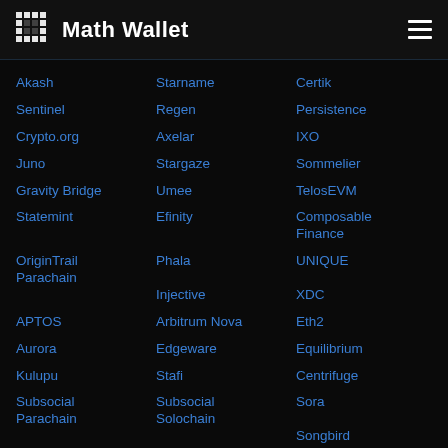Math Wallet
Akash
Starname
Certik
Sentinel
Regen
Persistence
Crypto.org
Axelar
IXO
Juno
Stargaze
Sommelier
Gravity Bridge
Umee
TelosEVM
Statemint
Efinity
Composable Finance
OriginTrail Parachain
Phala
UNIQUE
Injective
XDC
APTOS
Arbitrum Nova
Eth2
Aurora
Edgeware
Equilibrium
Kulupu
Stafi
Centrifuge
Subsocial Parachain
Subsocial Solochain
Sora
Songbird
Darwinia Crab
DBC Mainnet
CoinEx Smart Chain
Zilliga
EOS FORCE
YAS